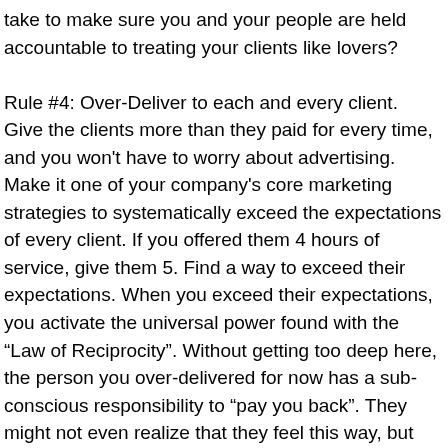take to make sure you and your people are held accountable to treating your clients like lovers?
Rule #4: Over-Deliver to each and every client. Give the clients more than they paid for every time, and you won't have to worry about advertising. Make it one of your company's core marketing strategies to systematically exceed the expectations of every client. If you offered them 4 hours of service, give them 5. Find a way to exceed their expectations. When you exceed their expectations, you activate the universal power found with the “Law of Reciprocity”. Without getting too deep here, the person you over-delivered for now has a sub-conscious responsibility to “pay you back”. They might not even realize that they feel this way, but people who have a soul (Non-Satan worshippers, of course) will find themselves having a strong urge to refer your business once they discover that you did more than you promised. They may feel the urge to mail you a tip. They may feel the need to call in “just to thank you”.Nearly ZERO companies ever over-deliver systematically, which is why